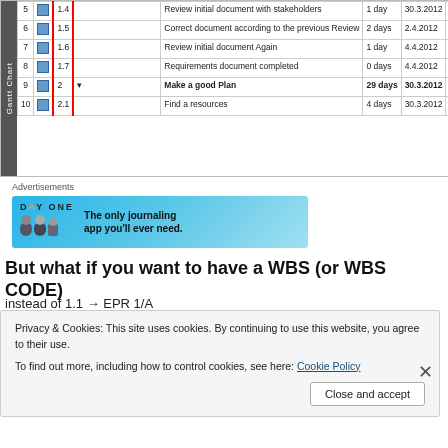| ID | Icon | WBS |  | Task | Duration | Start | Finish | Pre |
| --- | --- | --- | --- | --- | --- | --- | --- | --- |
| 5 |  | 1.4 |  | Review initial document with stakeholders | 1 day | 30.3.2012 | 30.3.2012 | 4 |
| 6 |  | 1.5 |  | Correct document according to the previous Review | 2 days | 2.4.2012 | 3.4.2012 | 5 |
| 7 |  | 1.6 |  | Review initial document Again | 1 day | 4.4.2012 | 4.4.2012 | 6 |
| 8 |  | 1.7 |  | Requirements document completed | 0 days | 4.4.2012 | 4.4.2012 | 7 |
| 9 |  | 2 |  | Make a good Plan | 29 days | 30.3.2012 | 9.5.2012 |  |
| 10 |  | 2.1 |  | Find a resources | 4 days | 30.3.2012 | 4.4.2012 | 4 |
Advertisements
[Figure (illustration): DAY ONE journaling app advertisement banner - blue background with text 'The only journaling app you'll ever need.']
But what if you want to have a WBS (or WBS CODE)
instead of 1.1 → EPR 1/A
Privacy & Cookies: This site uses cookies. By continuing to use this website, you agree to their use.
To find out more, including how to control cookies, see here: Cookie Policy
Close and accept